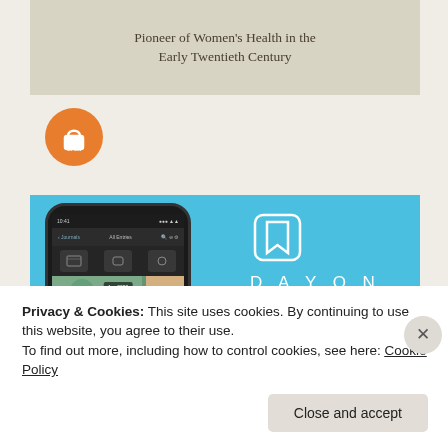[Figure (illustration): Book cover section with title 'Pioneer of Women's Health in the Early Twentieth Century' on a tan/beige background with an open-access orange icon below]
Pioneer of Women's Health in the Early Twentieth Century
[Figure (screenshot): DayOne app advertisement on a sky-blue background showing a phone mockup with the app interface and the text 'DAY ONE — Your Journal for life']
Privacy & Cookies: This site uses cookies. By continuing to use this website, you agree to their use.
To find out more, including how to control cookies, see here: Cookie Policy
Close and accept